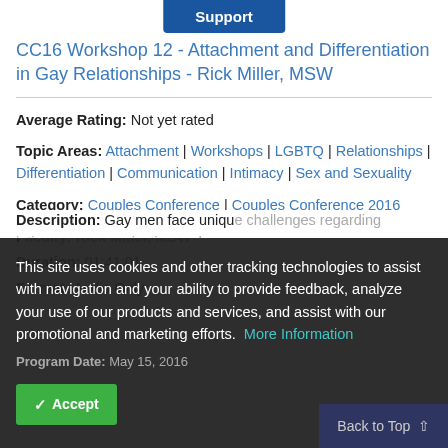Support
CC16 Workshop 12 - Attachment and Differentiation in Gay Relationships - Rick Miller, MSW
Average Rating: Not yet rated
Topic Areas: Attachment | Workshops | LGBTQ | Relationships | Differentiation | Communication | Intimacy | Sex and Sexuality
Category: Couples Conference | Couples Conference 2016
Faculty: Rick Miller, MSW
Duration: 01:41:01
Format: Audio Only
Program Date: May 15, 2016
Description: Gay men face unique challenges regarding intimacy, communication and
This site uses cookies and other tracking technologies to assist with navigation and your ability to provide feedback, analyze your use of our products and services, and assist with our promotional and marketing efforts.  More Information
Accept
Back to Top